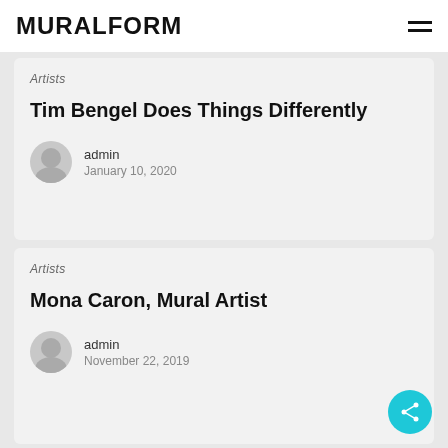MURALFORM
Artists
Tim Bengel Does Things Differently
admin
January 10, 2020
Artists
Mona Caron, Mural Artist
admin
November 22, 2019